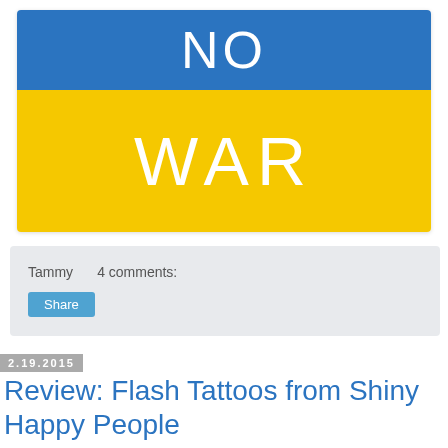[Figure (illustration): Ukrainian flag colors image with text 'NO WAR' — blue top half with 'NO' in white, yellow bottom half with 'WAR' in white]
Tammy   4 comments:
Share
2.19.2015
Review: Flash Tattoos from Shiny Happy People